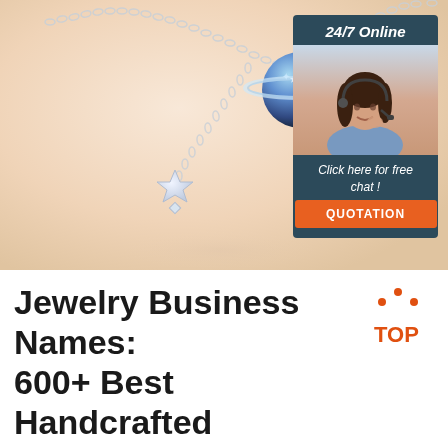[Figure (photo): A close-up photo of a silver necklace with a blue moon/planet charm and star pendant on a beige/cream background, with an overlaid advertisement box showing a female customer service representative and text '24/7 Online', 'Click here for free chat!', and an orange 'QUOTATION' button]
Jewelry Business Names: 600+ Best Handcrafted Jewelry